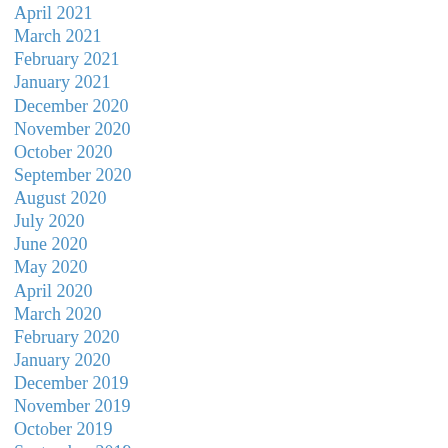April 2021
March 2021
February 2021
January 2021
December 2020
November 2020
October 2020
September 2020
August 2020
July 2020
June 2020
May 2020
April 2020
March 2020
February 2020
January 2020
December 2019
November 2019
October 2019
September 2019
August 2019